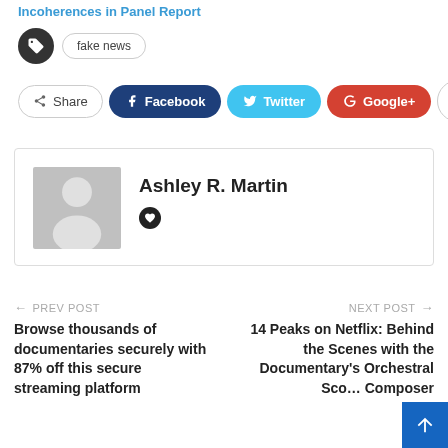Incoherences in Panel Report
fake news
Share  Facebook  Twitter  Google+  +
Ashley R. Martin
← PREV POST
Browse thousands of documentaries securely with 87% off this secure streaming platform
NEXT POST →
14 Peaks on Netflix: Behind the Scenes with the Documentary's Orchestral Score Composer